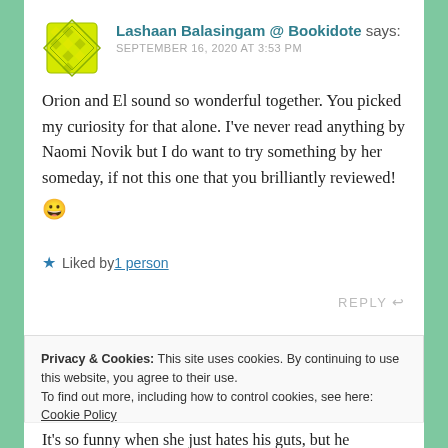Lashaan Balasingam @ Bookidote says: SEPTEMBER 16, 2020 AT 3:53 PM
Orion and El sound so wonderful together. You picked my curiosity for that alone. I've never read anything by Naomi Novik but I do want to try something by her someday, if not this one that you brilliantly reviewed! 😀
Liked by 1 person
REPLY
Privacy & Cookies: This site uses cookies. By continuing to use this website, you agree to their use.
To find out more, including how to control cookies, see here: Cookie Policy
Close and accept
It's so funny when she just hates his guts, but he